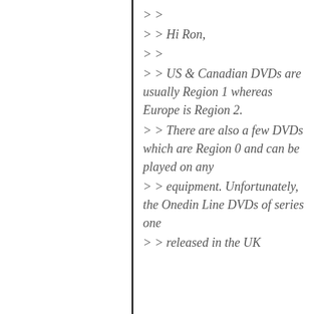> >
> > Hi Ron,
> >
> > US & Canadian DVDs are usually Region 1 whereas Europe is Region 2.
> > There are also a few DVDs which are Region 0 and can be played on any
> > equipment. Unfortunately, the Onedin Line DVDs of series one
> > released in the UK